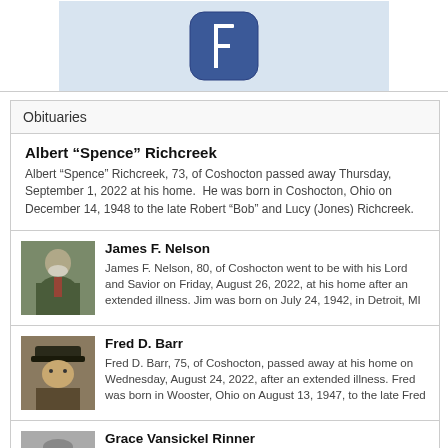[Figure (logo): Facebook logo icon — blue rounded square with white F]
Obituaries
Albert “Spence” Richcreek
Albert “Spence” Richcreek, 73, of Coshocton passed away Thursday, September 1, 2022 at his home.  He was born in Coshocton, Ohio on December 14, 1948 to the late Robert “Bob” and Lucy (Jones) Richcreek.
[Figure (photo): Portrait photo of James F. Nelson, elderly man with white beard in suit]
James F. Nelson
James F. Nelson, 80, of Coshocton went to be with his Lord and Savior on Friday, August 26, 2022, at his home after an extended illness. Jim was born on July 24, 1942, in Detroit, MI
[Figure (photo): Portrait photo of Fred D. Barr, man wearing veteran cap]
Fred D. Barr
Fred D. Barr, 75, of Coshocton, passed away at his home on Wednesday, August 24, 2022, after an extended illness. Fred was born in Wooster, Ohio on August 13, 1947, to the late Fred
[Figure (photo): Portrait photo of Grace Vansickel Rinner, woman with glasses]
Grace Vansickel Rinner
Grace Vansickel Rinner, 91, of Elmhurst, Illinois died Thursday, July 21, 2022. She was born August 1, 1930 in Coshocton